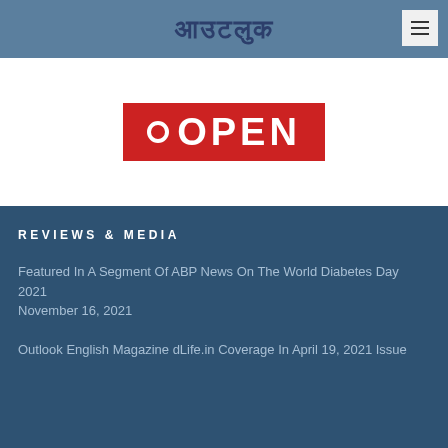आउटलुक
[Figure (logo): OPEN magazine logo — red rectangle with white bold text OPEN and a circle bullet]
REVIEWS & MEDIA
Featured In A Segment Of ABP News On The World Diabetes Day 2021
November 16, 2021
Outlook English Magazine dLife.in Coverage In April 19, 2021 Issue